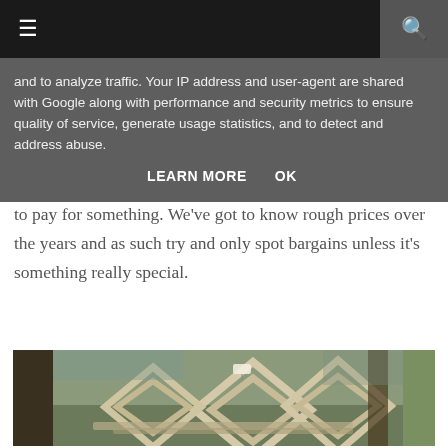Navigation bar with menu and search icons
and to analyze traffic. Your IP address and user-agent are shared with Google along with performance and security metrics to ensure quality of service, generate usage statistics, and to detect and address abuse.
LEARN MORE    OK
to pay for something. We've got to know rough prices over the years and as such try and only spot bargains unless it's something really special.
[Figure (photo): Wooden picture frames stacked and displayed at an outdoor market or antique fair, with price tags visible]